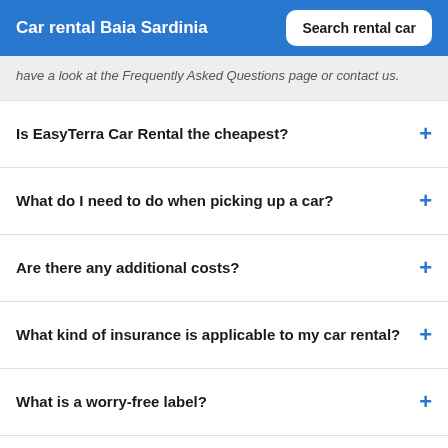Car rental Baia Sardinia | Search rental car
have a look at the Frequently Asked Questions page or contact us.
Is EasyTerra Car Rental the cheapest?
What do I need to do when picking up a car?
Are there any additional costs?
What kind of insurance is applicable to my car rental?
What is a worry-free label?
How can I change or cancel my reservation?